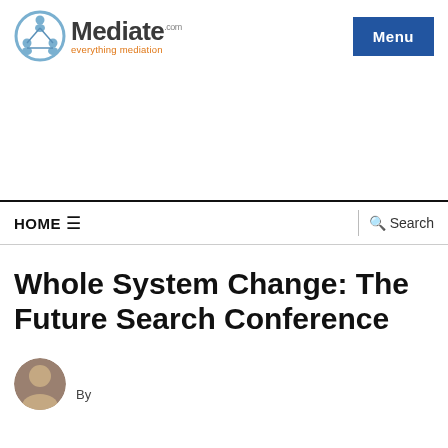[Figure (logo): Mediate.com logo with circular icon and tagline 'everything mediation']
[Figure (other): Blue 'Menu' button in top right corner]
HOME ☰     Search
Whole System Change: The Future Search Conference
By